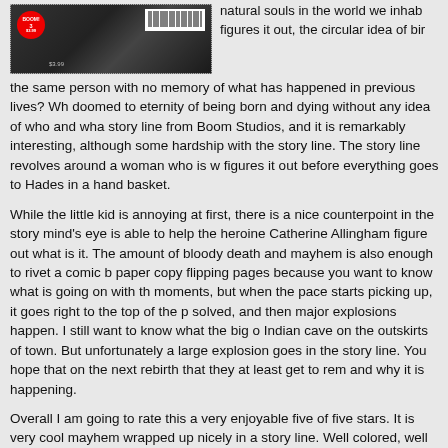[Figure (photo): Comic book cover for BOOM Studios issue 3, dark background with barcode visible at top right]
natural souls in the world we inhabit figures it out, the circular idea of bir the same person with no memory of what has happened in previous lives? Wh doomed to eternity of being born and dying without any idea of who and wha story line from Boom Studios, and it is remarkably interesting, although some hardship with the story line. The story line revolves around a woman who is w figures it out before everything goes to Hades in a hand basket.
While the little kid is annoying at first, there is a nice counterpoint in the story mind's eye is able to help the heroine Catherine Allingham figure out what is it. The amount of bloody death and mayhem is also enough to rivet a comic b paper copy flipping pages because you want to know what is going on with th moments, but when the pace starts picking up, it goes right to the top of the p solved, and then major explosions happen. I still want to know what the big o Indian cave on the outskirts of town. But unfortunately a large explosion goes in the story line. You hope that on the next rebirth that they at least get to rem and why it is happening.
Overall I am going to rate this a very enjoyable five of five stars. It is very cool mayhem wrapped up nicely in a story line. Well colored, well lettered, easy to and do not forget the explosions and mayhem. It is always nice to see Mark W this one will not disappoint. Equally wonderful is that this comic book is very e in digital format. It is well worth owning the physical copy, but if you just want